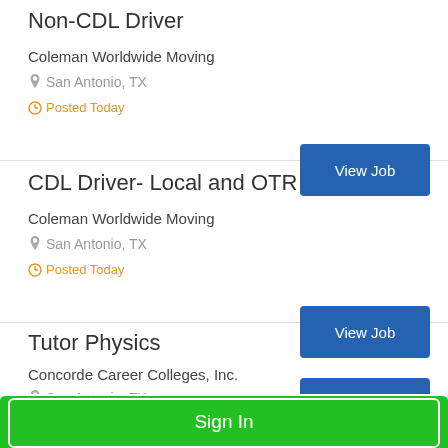Non-CDL Driver
Coleman Worldwide Moving
San Antonio, TX
Posted Today
CDL Driver- Local and OTR
Coleman Worldwide Moving
San Antonio, TX
Posted Today
Tutor Physics
Concorde Career Colleges, Inc.
San Antonio, TX
Posted Today
Sign In